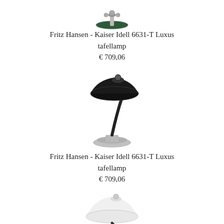[Figure (photo): Green Kaiser Idell 6631-T Luxus table lamp, top view with circular base, chrome fittings]
Fritz Hansen - Kaiser Idell 6631-T Luxus tafellamp
€ 709,06
[Figure (photo): Black Kaiser Idell 6631-T Luxus table lamp with dome shade and chrome base]
Fritz Hansen - Kaiser Idell 6631-T Luxus tafellamp
€ 709,06
[Figure (photo): White Kaiser Idell 6631-T Luxus table lamp with dome shade, partially visible at bottom]